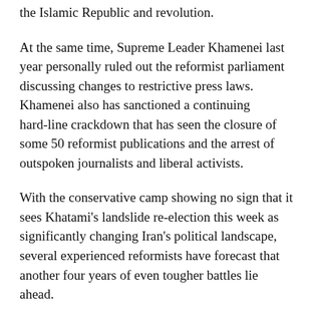the Islamic Republic and revolution.
At the same time, Supreme Leader Khamenei last year personally ruled out the reformist parliament discussing changes to restrictive press laws. Khamenei also has sanctioned a continuing hard-line crackdown that has seen the closure of some 50 reformist publications and the arrest of outspoken journalists and liberal activists.
With the conservative camp showing no sign that it sees Khatami's landslide re-election this week as significantly changing Iran's political landscape, several experienced reformists have forecast that another four years of even tougher battles lie ahead.
Ataollah Mohajerani, one of Khatami's senior advisers and a former minister who was pressured